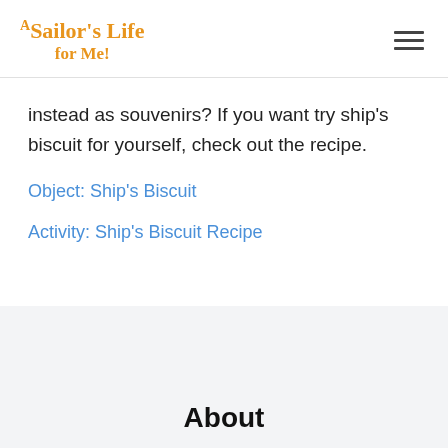A Sailor's Life for Me!
instead as souvenirs? If you want try ship's biscuit for yourself, check out the recipe.
Object: Ship's Biscuit
Activity: Ship's Biscuit Recipe
About